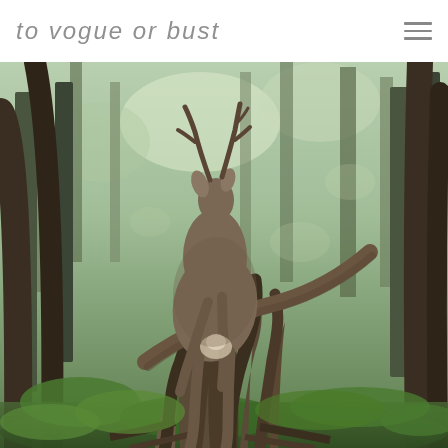to vogue or bust
[Figure (photo): A deer or moose standing on twisted, gnarled tree roots in a dense forest. The animal is viewed from behind/side, surrounded by tall trees with green undergrowth and dappled sunlight filtering through the canopy.]